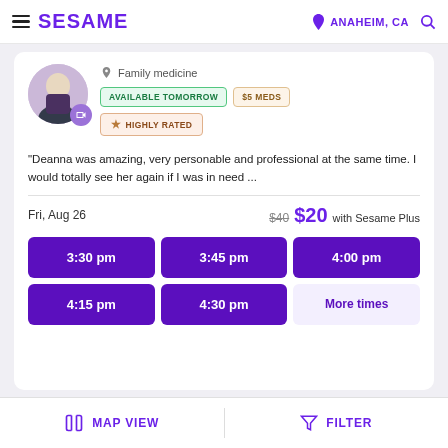SESAME | ANAHEIM, CA
Family medicine
AVAILABLE TOMORROW | $5 MEDS | ★ HIGHLY RATED
"Deanna was amazing, very personable and professional at the same time. I would totally see her again if I was in need ...
Fri, Aug 26  $40  $20  with Sesame Plus
3:30 pm | 3:45 pm | 4:00 pm | 4:15 pm | 4:30 pm | More times
MAP VIEW | FILTER